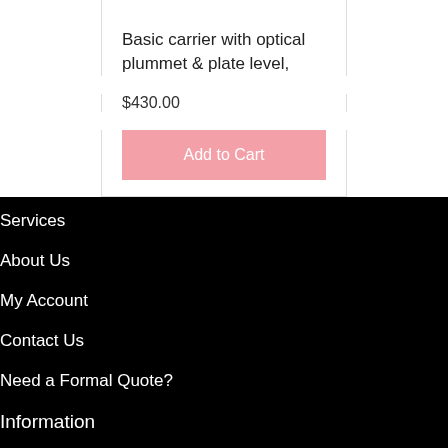Basic carrier with optical plummet & plate level,
$430.00
Add to Cart
Services
About Us
My Account
Contact Us
Need a Formal Quote?
Information
Prism Constants Information
FAQ